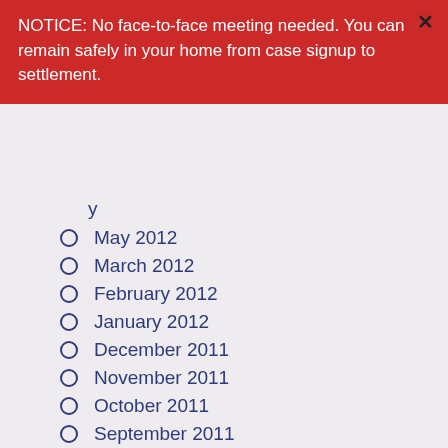NOTICE: No face-to-face meeting needed. You can remain safely in your home from case signup to settlement.
May 2012
March 2012
February 2012
January 2012
December 2011
November 2011
October 2011
September 2011
August 2011
July 2011
June 2011
May 2011